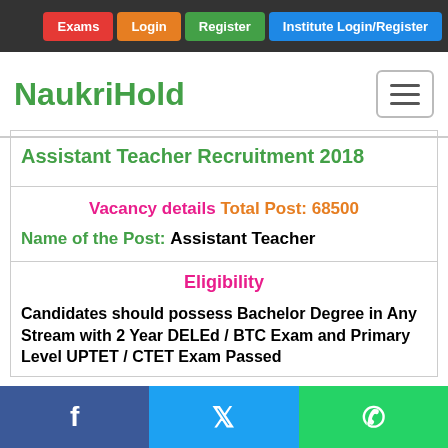Exams | Login | Register | Institute Login/Register
NaukriHold
Assistant Teacher Recruitment 2018
Vacancy details Total Post: 68500
Name of the Post: Assistant Teacher
Eligibility
Candidates should possess Bachelor Degree in Any Stream with 2 Year DELEd / BTC Exam and Primary Level UPTET / CTET Exam Passed
Facebook | Twitter | WhatsApp